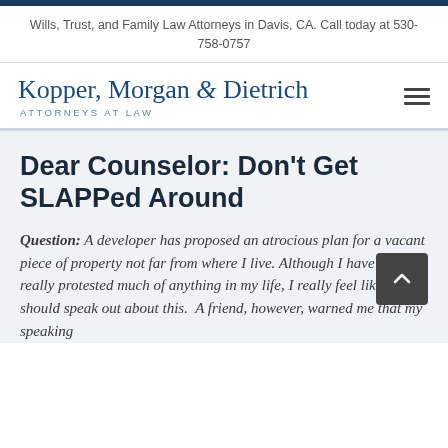Wills, Trust, and Family Law Attorneys in Davis, CA. Call today at 530-758-0757
[Figure (logo): Kopper, Morgan & Dietrich – Attorneys at Law logo with hamburger menu icon]
Dear Counselor: Don't Get SLAPPed Around
Question: A developer has proposed an atrocious plan for a vacant piece of property not far from where I live. Although I have never really protested much of anything in my life, I really feel like I should speak out about this. A friend, however, warned me that my speaking